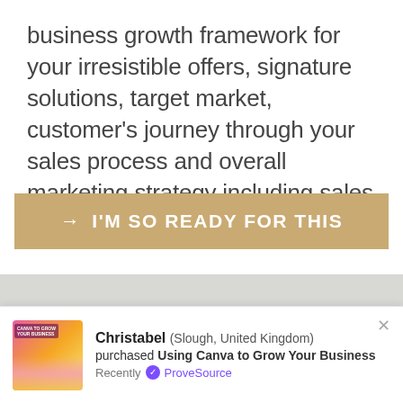business growth framework for your irresistible offers, signature solutions, target market, customer's journey through your sales process and overall marketing strategy including sales campaigns.
[Figure (other): Gold/tan call-to-action button with right arrow and text: → I'M SO READY FOR THIS]
[Figure (photo): Decorative gray section separator]
[Figure (illustration): Script/cursive text reading 'Option 2' in gold color on white background]
[Figure (screenshot): ProveSource notification popup at bottom of page showing Christabel from Slough United Kingdom purchased Using Canva to Grow Your Business Recently with ProveSource badge]